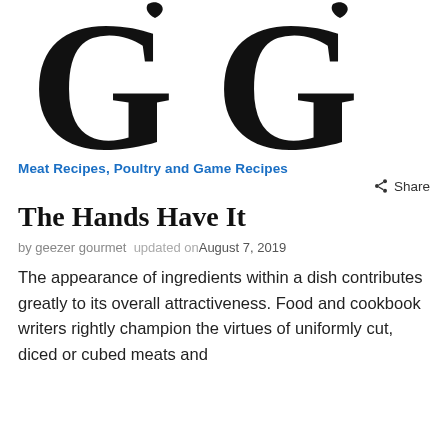[Figure (logo): Two large stylized G letters forming a logo/monogram for Geezer Gourmet]
Meat Recipes, Poultry and Game Recipes
Share
The Hands Have It
by geezer gourmet  updated on August 7, 2019
The appearance of ingredients within a dish contributes greatly to its overall attractiveness. Food and cookbook writers rightly champion the virtues of uniformly cut, diced or cubed meats and